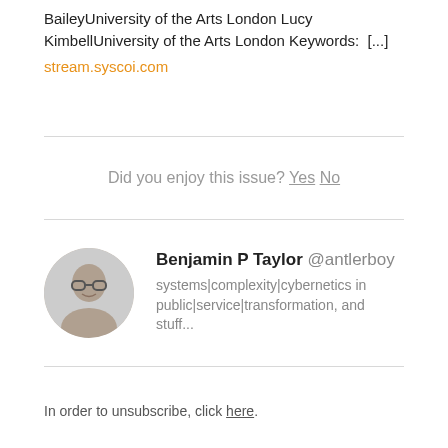BaileyUniversity of the Arts London Lucy KimbellUniversity of the Arts London Keywords:  [...]
stream.syscoi.com
Did you enjoy this issue? Yes No
Benjamin P Taylor @antlerboy
systems|complexity|cybernetics in public|service|transformation, and stuff...
In order to unsubscribe, click here.